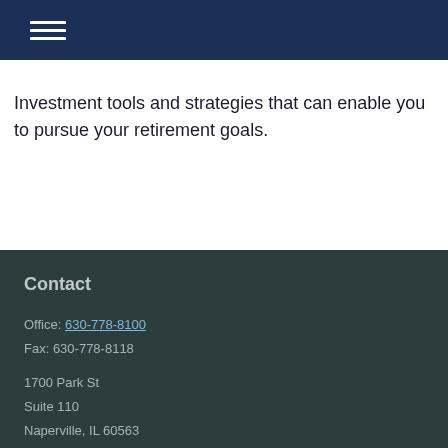[hamburger menu icon]
Investment tools and strategies that can enable you to pursue your retirement goals.
Contact
Office: 630-778-8100
Fax: 630-778-8118
1700 Park St
Suite 110
Naperville, IL 60563
info@rpiplan.com